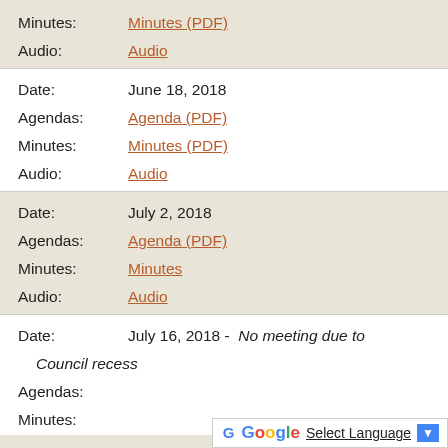Minutes: Minutes (PDF)
Audio: Audio
Date: June 18, 2018
Agendas: Agenda (PDF)
Minutes: Minutes (PDF)
Audio: Audio
Date: July 2, 2018
Agendas: Agenda (PDF)
Minutes: Minutes
Audio: Audio
Date: July 16, 2018 - No meeting due to Council recess
Agendas:
Minutes: